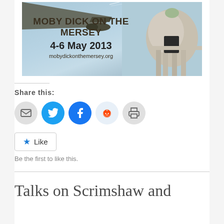[Figure (photo): Promotional banner image for 'Moby Dick on the Mersey' event, showing a building dome/tower with a whale/aircraft wing overhead against a blue sky. Text overlay reads: MOBY DICK ON THE MERSEY, 4-6 May 2013, mobydickonthemersey.org]
Share this:
[Figure (infographic): Row of 5 social sharing icon buttons: email (grey circle), Twitter (blue circle with bird), Facebook (dark blue circle with f), Reddit (light blue circle with alien), Print (grey circle with printer)]
Like
Be the first to like this.
Talks on Scrimshaw and